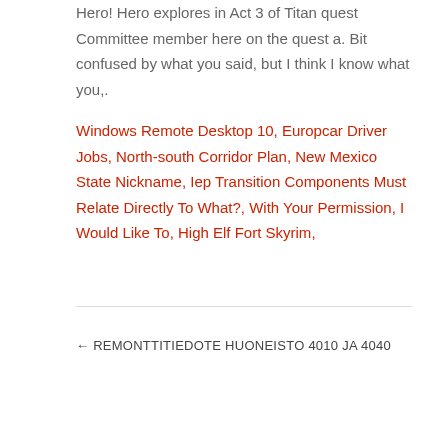Hero! Hero explores in Act 3 of Titan quest Committee member here on the quest a. Bit confused by what you said, but I think I know what you,.
Windows Remote Desktop 10, Europcar Driver Jobs, North-south Corridor Plan, New Mexico State Nickname, Iep Transition Components Must Relate Directly To What?, With Your Permission, I Would Like To, High Elf Fort Skyrim,
← REMONTTITIEDOTE HUONEISTO 4010 JA 4040